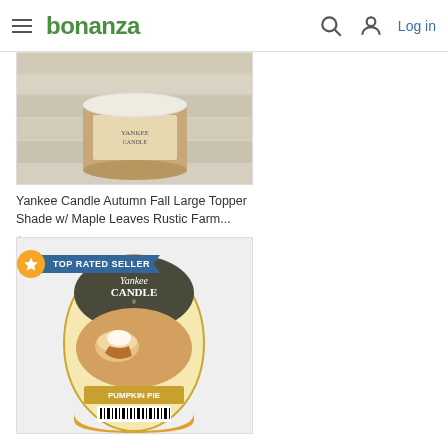bonanza | Log in
[Figure (photo): Yankee Candle autumn product photo on white wood background]
Yankee Candle Autumn Fall Large Topper Shade w/ Maple Leaves Rustic Farm...
$16.99
[Figure (photo): Yankee Candle Pumpkin Pie Fragrance Wax Melts product photo with TOP RATED SELLER badge]
TOP RATED SELLER